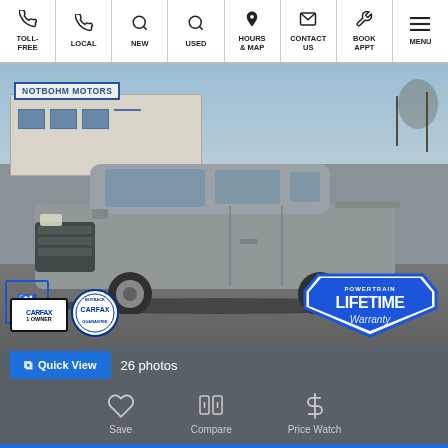TOLL-FREE | LOCAL | NEW | USED | HOURS & MAP | CONTACT US | BOOK APPT | MENU
[Figure (photo): Notbohm Motors dealership lot showing a silver Chevrolet Silverado 1500 pickup truck parked in front of the dealership building. CARFAX 1 Owner badge, CARFAX Buyback Guarantee badge, and Powertrain Lifetime Warranty badge visible on the photo.]
Quick View   26 photos
Save
Compare
Price Watch